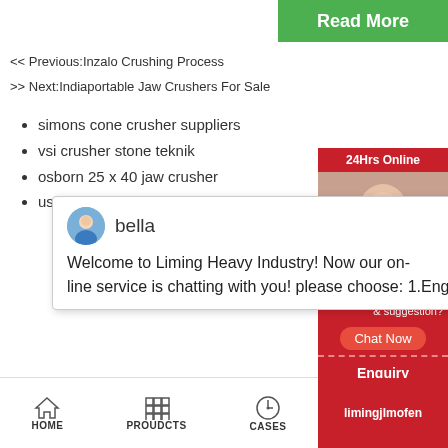[Figure (screenshot): Green Read More button in top right corner]
<< Previous:Inzalo Crushing Process
>> Next:Indiaportable Jaw Crushers For Sale
simons cone crusher suppliers
vsi crusher stone teknik
osborn 25 x 40 jaw crusher
used ball mills korea
[Figure (screenshot): Chat popup from bella - Welcome to Liming Heavy Industry! Now our on-line service is chatting with you! please choose: 1.English]
laju mesin penggling
classification of coal mills
gold mining machinery sale
lokasyon ng pagmimina ng dyipsum sa mundo
crusher plant manufacturers in indonesia
stone quarrying machines in dubai
[Figure (screenshot): Right sidebar with 24Hrs Online, chat support agent photo, Need question & suggestion?, Chat Now button, Enquiry, limingjlmofen]
HOME   PROUDCTS   CASES   limingjlmofen